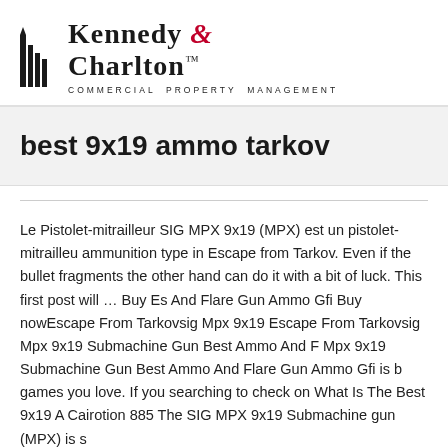[Figure (logo): Kennedy & Charlton Commercial Property Management logo with building icon]
best 9x19 ammo tarkov
Le Pistolet-mitrailleur SIG MPX 9x19 (MPX) est un pistolet-mitrailleu ammunition type in Escape from Tarkov. Even if the bullet fragments the other hand can do it with a bit of luck. This first post will ... Buy Es And Flare Gun Ammo Gfi Buy nowEscape From Tarkovsig Mpx 9x19 Escape From Tarkovsig Mpx 9x19 Submachine Gun Best Ammo And F Mpx 9x19 Submachine Gun Best Ammo And Flare Gun Ammo Gfi is b games you love. If you searching to check on What Is The Best 9x19 A Cairotion 885 The SIG MPX 9x19 Submachine gun (MPX) is s